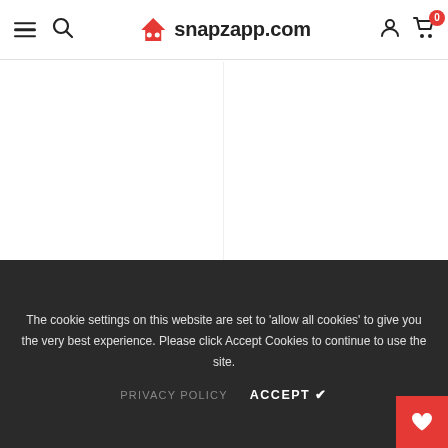snapzapp.com — navigation header with hamburger, search, logo, user, and cart (0 items)
[Figure (screenshot): Product listing area with two 'ADD TO CART' buttons and product names below. Left product: Shucent Mini Massager, White/Pink. Right product: Sauna Family, Big, Grey. A black scroll-to-top arrow button is visible on the right.]
Shucent Mini Massager, White/Pink
Sauna Family, Big, Grey
The cookie settings on this website are set to 'allow all cookies' to give you the very best experience. Please click Accept Cookies to continue to use the site.
PRIVACY POLICY   ACCEPT ✔